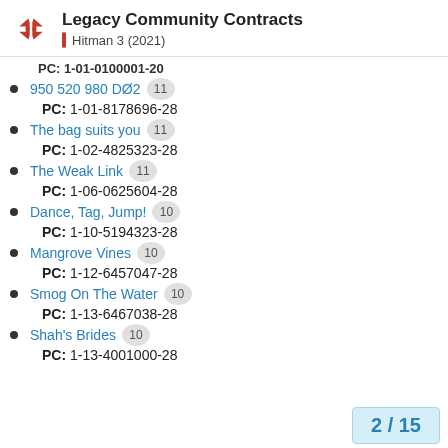Legacy Community Contracts — Hitman 3 (2021)
PC: 1-01-0100001-20 (truncated)
950 520 980 DØ2 [11]
PC: 1-01-8178696-28
The bag suits you [11]
PC: 1-02-4825323-28
The Weak Link [11]
PC: 1-06-0625604-28
Dance, Tag, Jump! [10]
PC: 1-10-5194323-28
Mangrove Vines [10]
PC: 1-12-6457047-28
Smog On The Water [10]
PC: 1-13-6467038-28
Shah's Brides [10]
PC: 1-13-4001000-28 (partial)
2 / 15